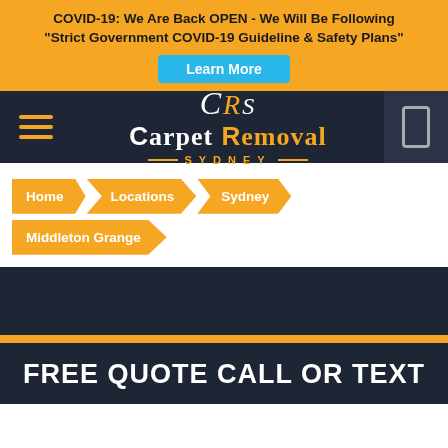COVID-19: We Are Back OPEN - We Will Be Following "Strict Government COVID-19 Guideline & Safety Plans"
Learn More
[Figure (logo): CRS Carpet Removal Sydney logo with hamburger menu and phone icon nav bar]
Home
Locations
Sydney
Middleton Grange
FREE QUOTE CALL OR TEXT